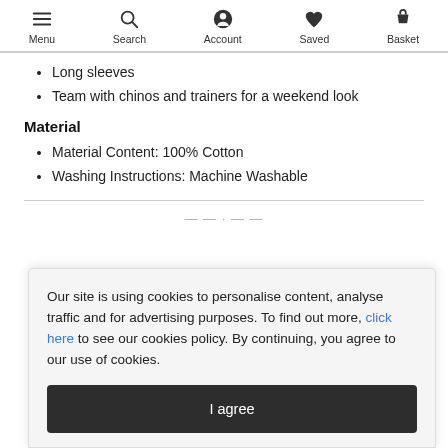Menu | Search | Account | Saved | Basket
Long sleeves
Team with chinos and trainers for a weekend look
Material
Material Content: 100% Cotton
Washing Instructions: Machine Washable
Our site is using cookies to personalise content, analyse traffic and for advertising purposes. To find out more, click here to see our cookies policy. By continuing, you agree to our use of cookies.
I agree